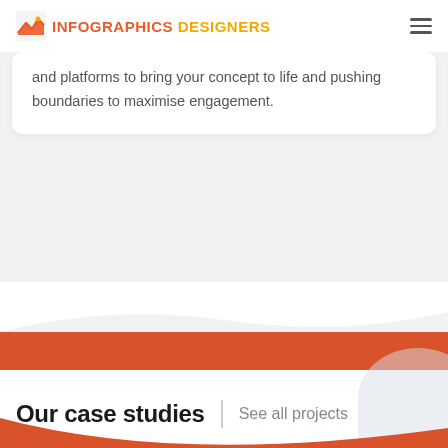INFOGRAPHICS DESIGNERS
and platforms to bring your concept to life and pushing boundaries to maximise engagement.
Talk to us today and get a free quote.
Our case studies
See all projects